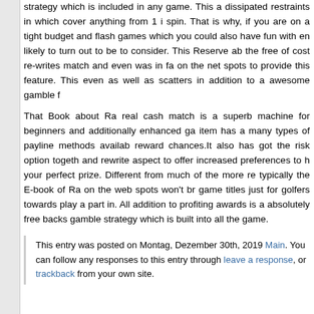strategy which is included in any game. This a dissipated restraints in which cover anything from 1 i spin. That is why, if you are on a tight budget and flash games which you could also have fun with en likely to turn out to be to consider. This Reserve ab the free of cost re-writes match and even was in fa on the net spots to provide this feature. This even as well as scatters in addition to a awesome gamble f
That Book about Ra real cash match is a superb machine for beginners and additionally enhanced g item has a many types of payline methods availab reward chances.It also has got the risk option toget and rewrite aspect to offer increased preferences to your perfect prize. Different from much of the more r typically the E-book of Ra on the web spots won't b game titles just for golfers towards play a part in. Al addition to profiting awards is a absolutely free back gamble strategy which is built into all the game.
This entry was posted on Montag, Dezember 30th, 2019 Main. You can follow any responses to this entry through leave a response, or trackback from your own site.